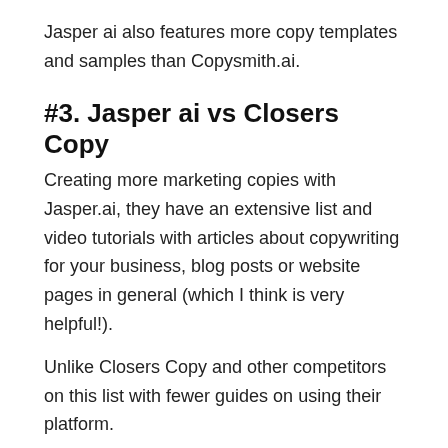Jasper ai also features more copy templates and samples than Copysmith.ai.
#3. Jasper ai vs Closers Copy
Creating more marketing copies with Jasper.ai, they have an extensive list and video tutorials with articles about copywriting for your business, blog posts or website pages in general (which I think is very helpful!).
Unlike Closers Copy and other competitors on this list with fewer guides on using their platform.
#4. Jasper ai vs Writesonic.
Writesonic.com is a Jasper ai alternative that